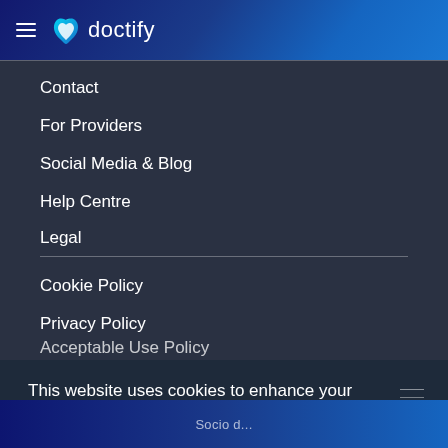doctify
Contact
For Providers
Social Media & Blog
Help Centre
Legal
Cookie Policy
Privacy Policy
Acceptable Use Policy
This website uses cookies to enhance your browsing experience. Learn more
I agree!
Socio d...